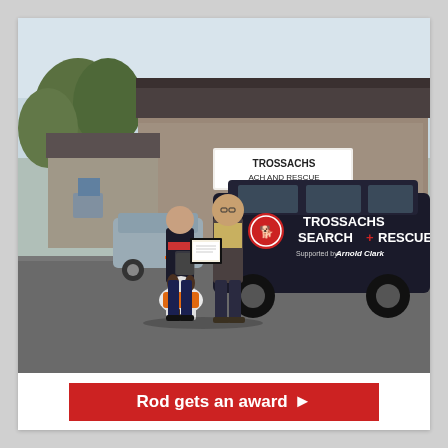[Figure (photo): Two men standing in front of a Trossachs Search and Rescue vehicle, holding a framed award certificate. A black and white dog wearing an orange vest sits between them. Behind them is a building with a sign reading 'TROSSACHS SEARCH AND RESCUE'. The dark SUV has 'TROSSACHS SEARCH + RESCUE Supported by Arnold Clark' written on its side.]
Rod gets an award ▶